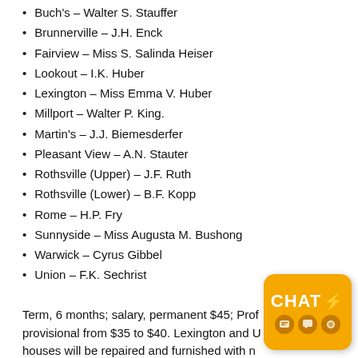Buch's – Walter S. Stauffer
Brunnerville – J.H. Enck
Fairview – Miss S. Salinda Heiser
Lookout – I.K. Huber
Lexington – Miss Emma V. Huber
Millport – Walter P. King.
Martin's – J.J. Biemesderfer
Pleasant View – A.N. Stauter
Rothsville (Upper) – J.F. Ruth
Rothsville (Lower) – B.F. Kopp
Rome – H.P. Fry
Sunnyside – Miss Augusta M. Bushong
Warwick – Cyrus Gibbel
Union – F.K. Sechrist
Term, 6 months; salary, permanent $45; Prof… provisional from $35 to $40. Lexington and U… houses will be repaired and furnished with new furniture.